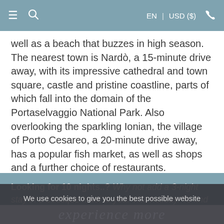≡  🔍   EN | USD ($)  📞
well as a beach that buzzes in high season. The nearest town is Nardò, a 15-minute drive away, with its impressive cathedral and town square, castle and pristine coastline, parts of which fall into the domain of the Portaselvaggio National Park. Also overlooking the sparkling Ionian, the village of Porto Cesareo, a 20-minute drive away, has a popular fish market, as well as shops and a further choice of restaurants.
Looking for 10 nights..? Why not add a 3-night stay in a boutique hotel to your villa holiday. To find
We use cookies to give you the best possible website experience. If you continue, we'll assume you're happy with this. You can find out more here. [close]
experience more